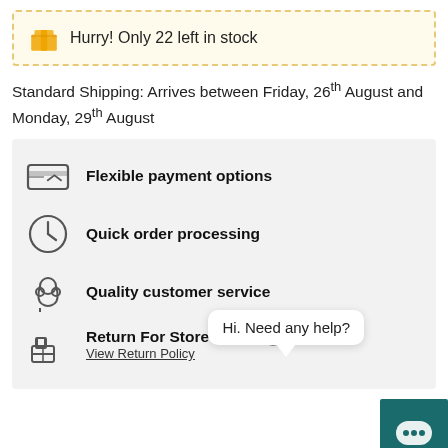Hurry! Only 22 left in stock
Standard Shipping: Arrives between Friday, 26th August and Monday, 29th August
Flexible payment options
Quick order processing
Quality customer service
Return For Store Credit ? View Return Policy
Hi. Need any help?
DESCRIPTION